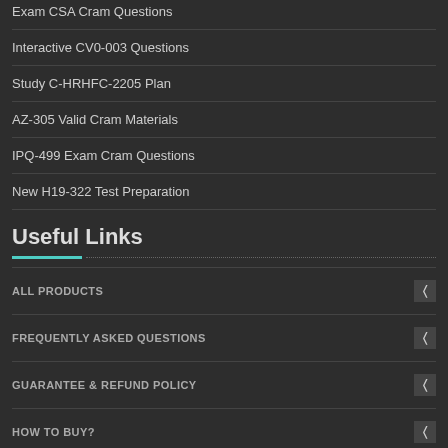Exam CSA Cram Questions
Interactive CV0-003 Questions
Study C-HRHFC-2205 Plan
AZ-305 Valid Cram Materials
IPQ-499 Exam Cram Questions
New H19-322 Test Preparation
Useful Links
ALL PRODUCTS
FREQUENTLY ASKED QUESTIONS
GUARANTEE & REFUND POLICY
HOW TO BUY?
ABOUT US